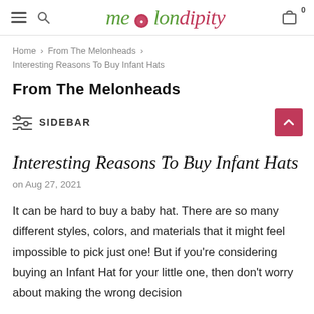melondipity — navigation header with hamburger, search, logo, and cart (0)
Home > From The Melonheads > Interesting Reasons To Buy Infant Hats
From The Melonheads
SIDEBAR
Interesting Reasons To Buy Infant Hats
on Aug 27, 2021
It can be hard to buy a baby hat. There are so many different styles, colors, and materials that it might feel impossible to pick just one! But if you're considering buying an Infant Hat for your little one, then don't worry about making the wrong decision